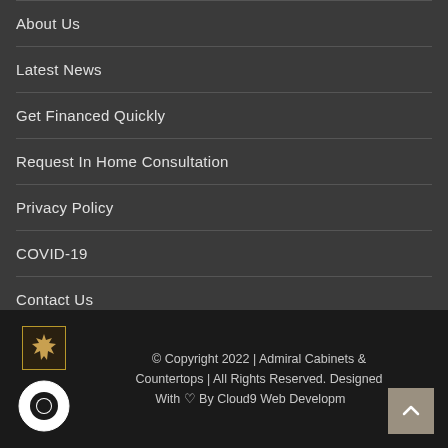About Us
Latest News
Get Financed Quickly
Request In Home Consultation
Privacy Policy
COVID-19
Contact Us
© Copyright 2022 | Admiral Cabinets & Countertops | All Rights Reserved. Designed With ♡ By Cloud9 Web Development